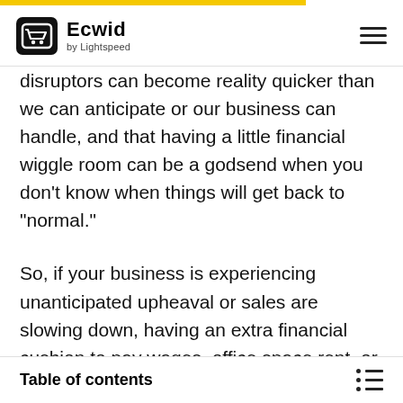Ecwid by Lightspeed
disruptors can become reality quicker than we can anticipate or our business can handle, and that having a little financial wiggle room can be a godsend when you don't know when things will get back to “normal.”
So, if your business is experiencing unanticipated upheaval or sales are slowing down, having an extra financial cushion to pay wages, office space rent, or whatever other bills are coming due can be a real lifesaver for you,
Table of contents